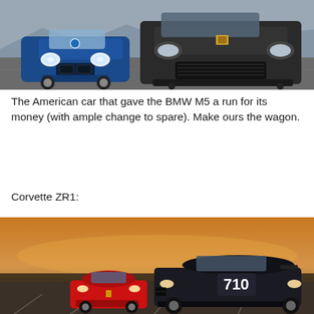[Figure (photo): Two performance sedans driving toward the camera on a race track — a blue BMW M5 on the left and a dark grey Cadillac CTS-V on the right, with mountains in the background.]
The American car that gave the BMW M5 a run for its money (with ample change to spare). Make ours the wagon.
Corvette ZR1:
[Figure (photo): A dark Corvette ZR1 with number 710 on track racing against a red Ferrari 458 Italia, with a dramatic orange and brown sky at sunset.]